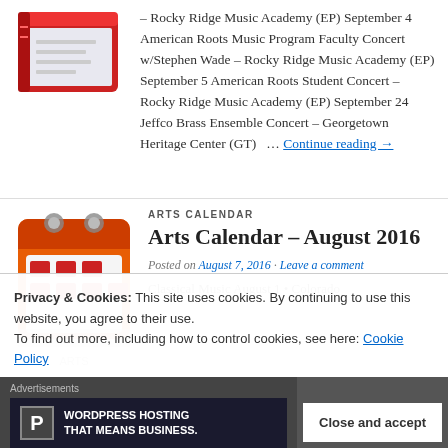[Figure (illustration): Red/white calendar or book icon illustration]
– Rocky Ridge Music Academy (EP) September 4 American Roots Music Program Faculty Concert w/Stephen Wade – Rocky Ridge Music Academy (EP) September 5 American Roots Student Concert – Rocky Ridge Music Academy (EP) September 24 Jeffco Brass Ensemble Concert – Georgetown Heritage Center (GT)  … Continue reading →
[Figure (illustration): Orange/red calendar icon illustration]
ARTS CALENDAR
Arts Calendar – August 2016
Posted on August 7, 2016 · Leave a comment
Classical Music August 1 • Colorado
Privacy & Cookies: This site uses cookies. By continuing to use this website, you agree to their use. To find out more, including how to control cookies, see here: Cookie Policy
Advertisements  WORDPRESS HOSTING THAT MEANS BUSINESS.  Close and accept